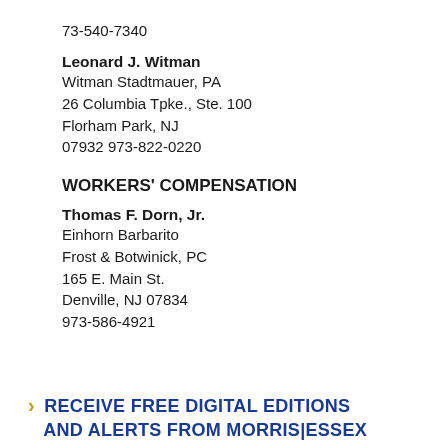73-540-7340
Leonard J. Witman
Witman Stadtmauer, PA
26 Columbia Tpke., Ste. 100
Florham Park, NJ
07932 973-822-0220
WORKERS' COMPENSATION
Thomas F. Dorn, Jr.
Einhorn Barbarito
Frost & Botwinick, PC
165 E. Main St.
Denville, NJ 07834
973-586-4921
> RECEIVE FREE DIGITAL EDITIONS AND ALERTS FROM MORRIS|ESSEX